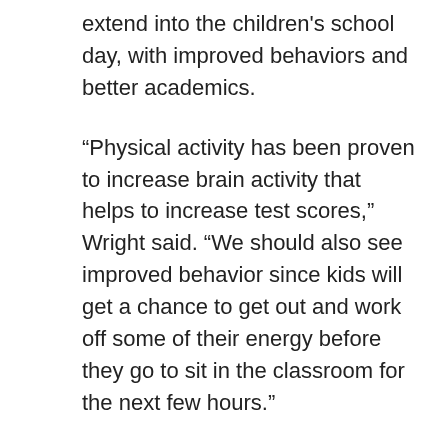extend into the children's school day, with improved behaviors and better academics.
“Physical activity has been proven to increase brain activity that helps to increase test scores,” Wright said. “We should also see improved behavior since kids will get a chance to get out and work off some of their energy before they go to sit in the classroom for the next few hours.”
Children are getting excited about the walk/run club. Second-grader Ella Bren enjoys the fitness but looks forward to the social part of the morning,
“Walking kind of wakes you up, and you can talk with friends before school,” she said.
Starting fitness with children early can cause a